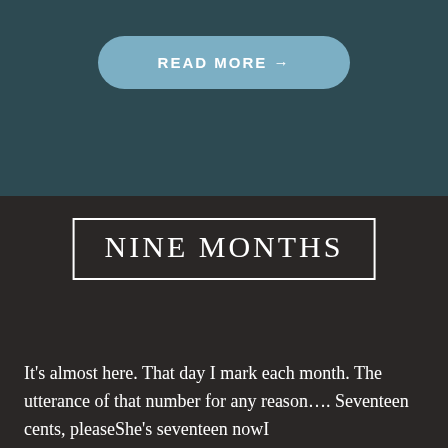[Figure (other): READ MORE button with arrow on dark teal background]
NINE MONTHS
It's almost here. That day I mark each month. The utterance of that number for any reason.... Seventeen cents, pleaseShe's seventeen nowI